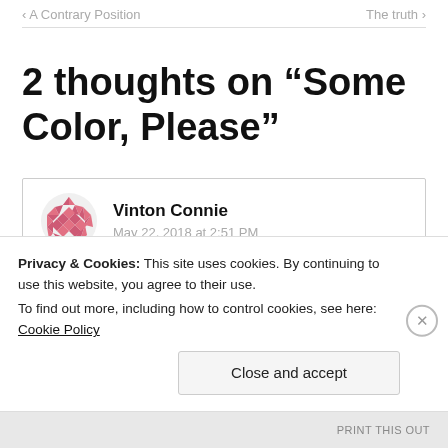‹ A Contrary Position    The truth ›
2 thoughts on “Some Color, Please”
Vinton Connie
May 22, 2018 at 2:51 PM
Privacy & Cookies: This site uses cookies. By continuing to use this website, you agree to their use.
To find out more, including how to control cookies, see here: Cookie Policy
Close and accept